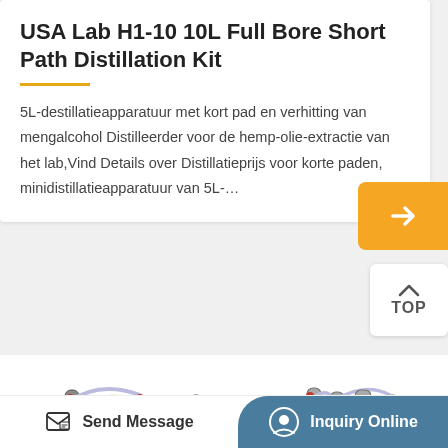USA Lab H1-10 10L Full Bore Short Path Distillation Kit
5L-destillatieapparatuur met kort pad en verhitting van mengalcohol Distilleerder voor de hemp-olie-extractie van het lab,Vind Details over Distillatieprijs voor korte paden, minidistillatieapparatuur van 5L-…
[Figure (photo): Two short path distillation kit assemblies shown side by side at the bottom of the page]
Send Message
Inquiry Online